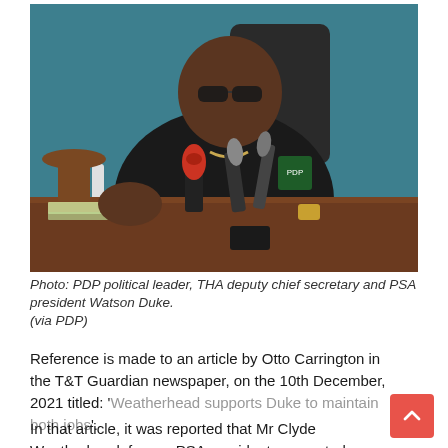[Figure (photo): Photo of PDP political leader, THA deputy chief secretary and PSA president Watson Duke sitting at a desk with microphones in front of him, wearing a dark PDP jacket and sunglasses, in front of a teal/blue background.]
Photo: PDP political leader, THA deputy chief secretary and PSA president Watson Duke. (via PDP)
Reference is made to an article by Otto Carrington in the T&T Guardian newspaper, on the 10th December, 2021 titled: ‘Weatherhead supports Duke to maintain both jobs’.
In that article, it was reported that Mr Clyde Weatherhead, former PSA president, supported Mr